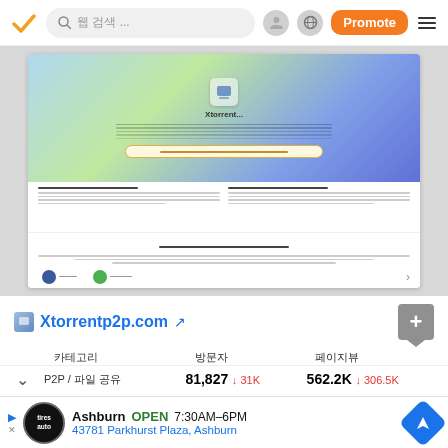Navigation bar with search, profile, globe icon, Promote button, and menu
[Figure (screenshot): Screenshot of Xtorrent website showing gradient hero section with icon and text, two-column content sections, Xtorrent Alternatives section, and icon rows]
Xtorrentp2p.com
| 카테고리 | 방문자 | 페이지뷰 |
| --- | --- | --- |
| P2P / 파일 공유 | 81,827 ↓31K | 562.2K ↓306.5K |
Ashburn OPEN 7:30AM–6PM 43781 Parkhurst Plaza, Ashburn